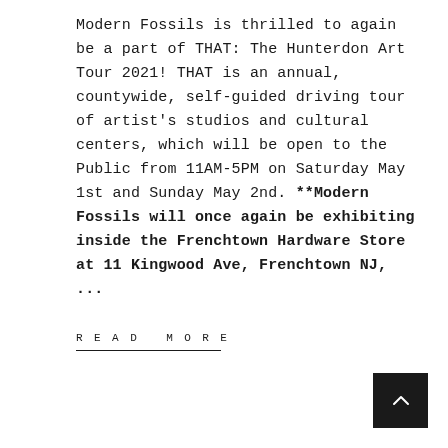Modern Fossils is thrilled to again be a part of THAT: The Hunterdon Art Tour 2021! THAT is an annual, countywide, self-guided driving tour of artist's studios and cultural centers, which will be open to the Public from 11AM-5PM on Saturday May 1st and Sunday May 2nd. **Modern Fossils will once again be exhibiting inside the Frenchtown Hardware Store at 11 Kingwood Ave, Frenchtown NJ, ...
READ MORE